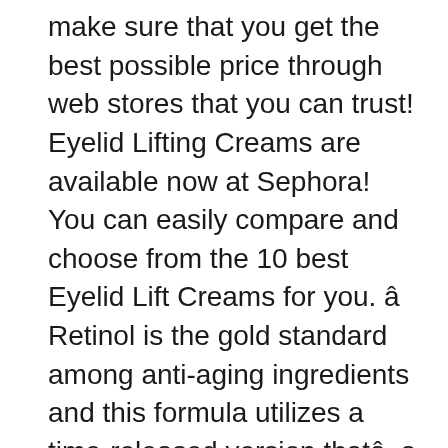make sure that you get the best possible price through web stores that you can trust! Eyelid Lifting Creams are available now at Sephora! You can easily compare and choose from the 10 best Eyelid Lift Creams for you. â Retinol is the gold standard among anti-aging ingredients and this formula utilizes a time-released version thatâs potent yet gentle,â she says. Benefits of Eye Secrets Eyelid Lift. Community. Best 8 eyelid tapes of 2020: With a brief understanding of the tips that will help you choose the perfect eyelid tape, letâs take a look at the top three to select from. The morning of my eye lift treatment, I look in the mirror before I